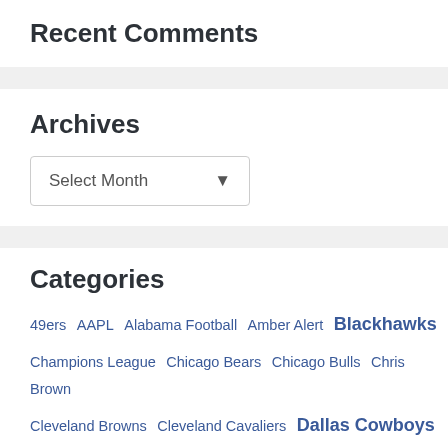Recent Comments
Archives
Select Month
Categories
49ers AAPL Alabama Football Amber Alert Blackhawks
Champions League Chicago Bears Chicago Bulls Chris Brown
Cleveland Browns Cleveland Cavaliers Dallas Cowboys Dancing